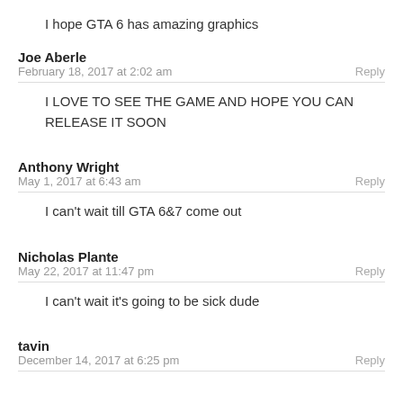I hope GTA 6 has amazing graphics
Joe Aberle
February 18, 2017 at 2:02 am
Reply
I LOVE TO SEE THE GAME AND HOPE YOU CAN RELEASE IT SOON
Anthony Wright
May 1, 2017 at 6:43 am
Reply
I can't wait till GTA 6&7 come out
Nicholas Plante
May 22, 2017 at 11:47 pm
Reply
I can't wait it's going to be sick dude
tavin
December 14, 2017 at 6:25 pm